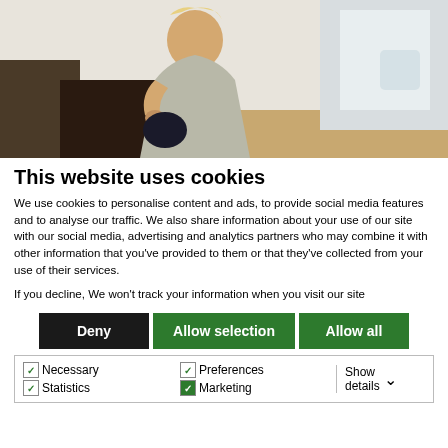[Figure (photo): Photograph of a woman in a grey dress standing in an office or modern indoor setting, partially cropped]
This website uses cookies
We use cookies to personalise content and ads, to provide social media features and to analyse our traffic. We also share information about your use of our site with our social media, advertising and analytics partners who may combine it with other information that you've provided to them or that they've collected from your use of their services.
If you decline, We won't track your information when you visit our site
Deny | Allow selection | Allow all
Necessary  Preferences  Statistics  Show details ∨
Marketing